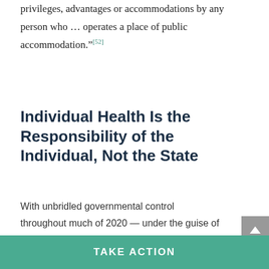privileges, advantages or accommodations by any person who … operates a place of public accommodation."[52]
Individual Health Is the Responsibility of the Individual, Not the State
With unbridled governmental control throughout much of 2020 — under the guise of emergency orders needed to curb coronavirus — citizens from coast to coast have seen their civil, constitutional and religious rights trampled upon.[53],[54] An onslaught of executive
TAKE ACTION